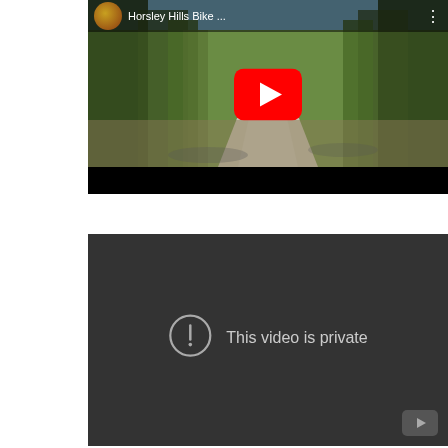[Figure (screenshot): YouTube video thumbnail for 'Horsley Hills Bike ...' showing a dirt road through a forest with trees on both sides. A red YouTube play button is overlaid in the center. The video has a dark top bar with channel avatar and title.]
[Figure (screenshot): Dark gray YouTube video player showing a private video error state. A circle with exclamation mark icon is shown next to the text 'This video is private'. A small YouTube logo button appears in the bottom right corner.]